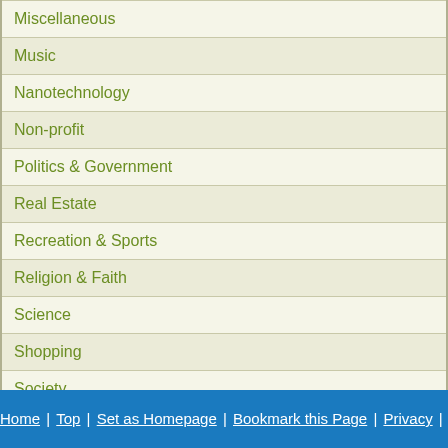| Miscellaneous |
| Music |
| Nanotechnology |
| Non-profit |
| Politics & Government |
| Real Estate |
| Recreation & Sports |
| Religion & Faith |
| Science |
| Shopping |
| Society |
| Software |
| Technology |
| Telecommunications |
| Transportation |
| Travel & Leisure |
Home | Top | Set as Homepage | Bookmark this Page | Privacy | Ba...